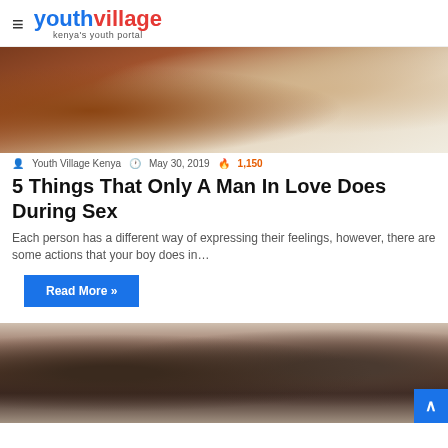youthvillage — kenya's youth portal
[Figure (photo): Close-up photo of two people in an intimate embrace on a bed with white pillows and bedding]
Youth Village Kenya   May 30, 2019   1,150
5 Things That Only A Man In Love Does During Sex
Each person has a different way of expressing their feelings, however, there are some actions that your boy does in…
Read More »
[Figure (photo): A man and woman at a table with a candle between them, appearing to be in disagreement or tension]